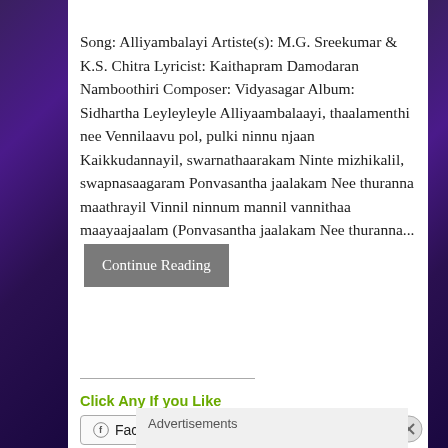Song: Alliyambalayi Artiste(s): M.G. Sreekumar & K.S. Chitra Lyricist: Kaithapram Damodaran Namboothiri Composer: Vidyasagar Album: Sidhartha Leyleyleyle Alliyaambalaayi, thaalamenthi nee Vennilaavu pol, pulki ninnu njaan Kaikkudannayil, swarnathaarakam Ninte mizhikalil, swapnasaagaram Ponvasantha jaalakam Nee thuranna maathrayil Vinnil ninnum mannil vannithaa maayaajaalam (Ponvasantha jaalakam Nee thuranna... [Continue Reading]
Click Any If you Like
Facebook  Twitter  WhatsApp
Advertisements